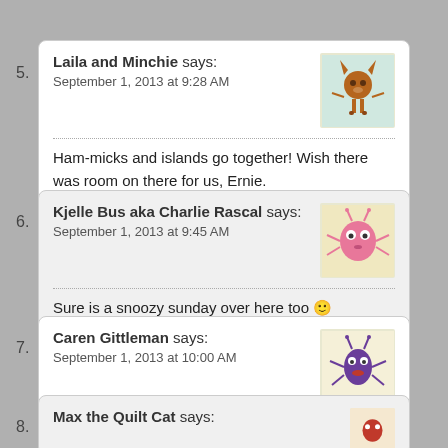5. Laila and Minchie says:
September 1, 2013 at 9:28 AM

Ham-micks and islands go together! Wish there was room on there for us, Ernie.
6. Kjelle Bus aka Charlie Rascal says:
September 1, 2013 at 9:45 AM

Sure is a snoozy sunday over here too 🙂
7. Caren Gittleman says:
September 1, 2013 at 10:00 AM

ohhhh you look soooooooo comfy cozy!!!!!!!!!!!!!!!!!
8. Max the Quilt Cat says: